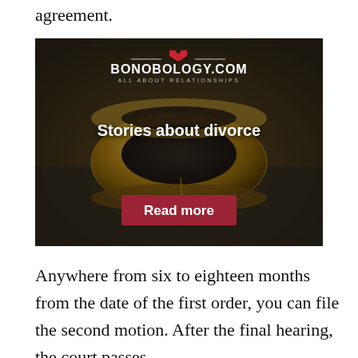agreement.
[Figure (photo): A gold wedding ring placed on a gray surface, with the Bonobology.com logo overlay, text 'Stories about divorce', and a red 'Read more' button.]
Anywhere from six to eighteen months from the date of the first order, you can file the second motion. After the final hearing, the court passes